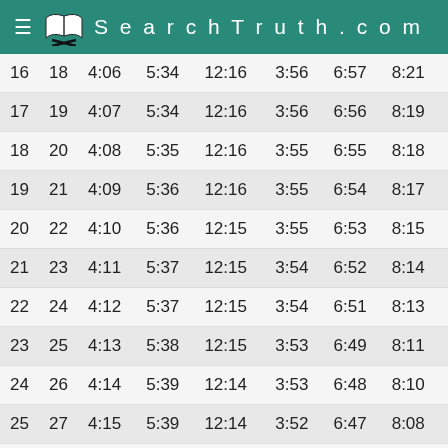SearchTruth.com
| 16 | 18 | 4:06 | 5:34 | 12:16 | 3:56 | 6:57 | 8:21 |
| 17 | 19 | 4:07 | 5:34 | 12:16 | 3:56 | 6:56 | 8:19 |
| 18 | 20 | 4:08 | 5:35 | 12:16 | 3:55 | 6:55 | 8:18 |
| 19 | 21 | 4:09 | 5:36 | 12:16 | 3:55 | 6:54 | 8:17 |
| 20 | 22 | 4:10 | 5:36 | 12:15 | 3:55 | 6:53 | 8:15 |
| 21 | 23 | 4:11 | 5:37 | 12:15 | 3:54 | 6:52 | 8:14 |
| 22 | 24 | 4:12 | 5:37 | 12:15 | 3:54 | 6:51 | 8:13 |
| 23 | 25 | 4:13 | 5:38 | 12:15 | 3:53 | 6:49 | 8:11 |
| 24 | 26 | 4:14 | 5:39 | 12:14 | 3:53 | 6:48 | 8:10 |
| 25 | 27 | 4:15 | 5:39 | 12:14 | 3:52 | 6:47 | 8:08 |
| 26 | 28 | 4:16 | 5:40 | 12:14 | 3:52 | 6:46 | 8:07 |